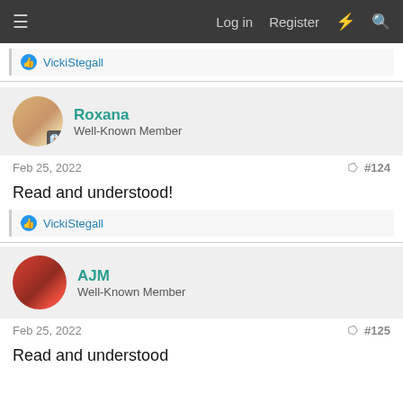Log in  Register
👍 VickiStegall
Roxana
Well-Known Member
Feb 25, 2022  #124
Read and understood!
👍 VickiStegall
AJM
Well-Known Member
Feb 25, 2022  #125
Read and understood